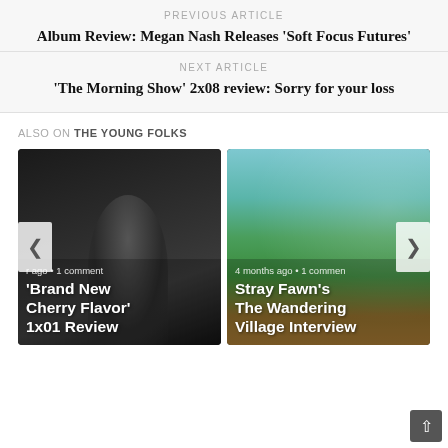PREVIOUS ARTICLE
Album Review: Megan Nash Releases 'Soft Focus Futures'
NEXT ARTICLE
'The Morning Show' 2x08 review: Sorry for your loss
ALSO ON THE YOUNG FOLKS
[Figure (photo): Card showing a dark photo of a woman for 'Brand New Cherry Flavor' 1x01 Review, with meta text showing ago • 1 comment and card title.]
[Figure (photo): Card showing a green/teal landscape game screenshot for Stray Fawn's The Wandering Village Interview, with meta text '4 months ago • 1 comment' and card title.]